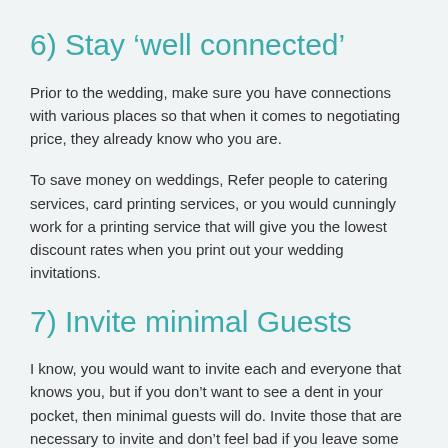6) Stay ‘well connected’
Prior to the wedding, make sure you have connections with various places so that when it comes to negotiating price, they already know who you are.
To save money on weddings, Refer people to catering services, card printing services, or you would cunningly work for a printing service that will give you the lowest discount rates when you print out your wedding invitations.
7) Invite minimal Guests
I know, you would want to invite each and everyone that knows you, but if you don’t want to see a dent in your pocket, then minimal guests will do. Invite those that are necessary to invite and don’t feel bad if you leave some out.